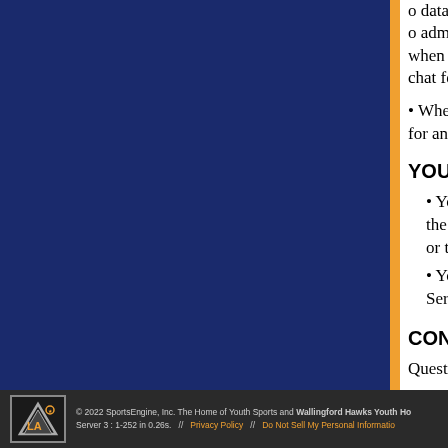o data related to mess...
o administrator inform... when the administrator... chat feature.
When users are not logged... for analytics purposes.
YOUR RIGHTS & CHOICES
You may unsubscribe from... the opt-out instructions conta... or transactional emails.
You may be able to access... Services or by contacting the...
CONTACT
Questions, comments and requests r...
© 2022 SportsEngine, Inc. The Home of Youth Sports and Wallingford Hawks Youth Ho... Server 3 : 1-252 in 0.26s.  //  Privacy Policy  //  Do Not Sell My Personal Informatio...